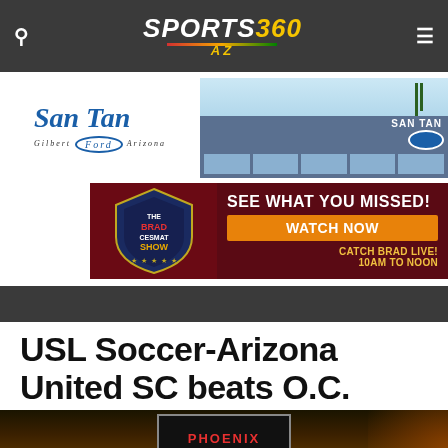SPORTS360 AZ
[Figure (photo): San Tan Ford advertisement banner with dealership logo on left and dealership building photo on right]
[Figure (photo): The Brad Cesmat Show advertisement: dark red background with shield logo on left, 'SEE WHAT YOU MISSED! WATCH NOW' on right, 'CATCH BRAD LIVE! 10AM to NOON' tagline]
USL Soccer-Arizona United SC beats O.C. Blues
[Figure (photo): Dark atmospheric image with a Phoenix Rising sign visible in the center]